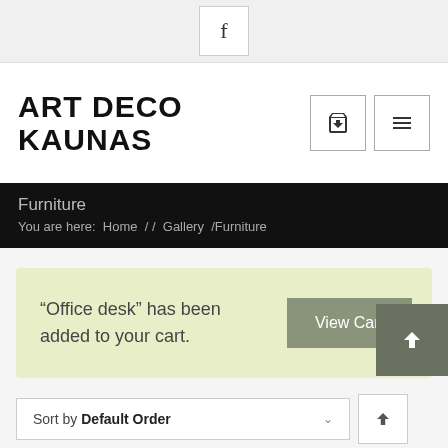f
ART DECO KAUNAS
Furniture
You are here:  Home  / /  Gallery  /Furniture
“Office desk” has been added to your cart.
View Cart
Sort by Default Order